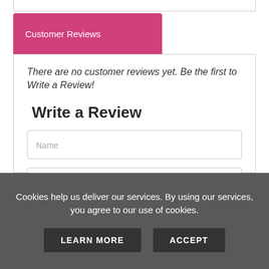Customer Reviews
There are no customer reviews yet. Be the first to Write a Review!
Write a Review
Name
Email Address
-- Select Rating --
Cookies help us deliver our services. By using our services, you agree to our use of cookies.
LEARN MORE
ACCEPT